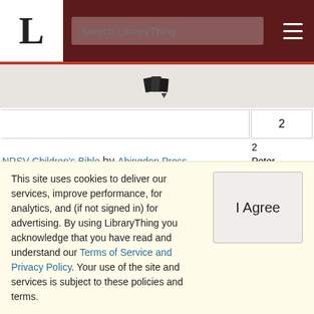LibraryThing - Search LibraryThing
[Figure (icon): Books/copy icon with dropdown arrow]
| Book | Ref |
| --- | --- |
|  | 2 |
| NRSV Children's Bible by Abingdon Press | 2 Peter 2 |
| The One Volume Bible Commentary by John R. Dummelow | 2 Peter 2 |
| The One Year Bible NIV by Tyndale | 2 Peter ... |
This site uses cookies to deliver our services, improve performance, for analytics, and (if not signed in) for advertising. By using LibraryThing you acknowledge that you have read and understand our Terms of Service and Privacy Policy. Your use of the site and services is subject to these policies and terms.